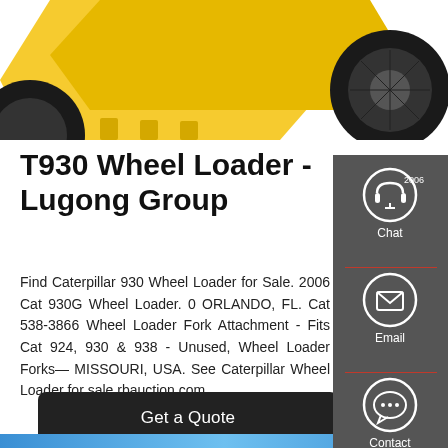[Figure (photo): Partial top view of a yellow wheel loader (T930 Lugong) showing the bucket and tires against a white background]
T930 Wheel Loader - Lugong Group
Find Caterpillar 930 Wheel Loader for Sale. 2006 Cat 930G Wheel Loader. 0 ORLANDO, FL. Cat 538-3866 Wheel Loader Fork Attachment - Fits Cat 924, 930 & 938 - Unused, Wheel Loader Forks— MISSOURI, USA. See Caterpillar Wheel Loader for sale rbauction.com.
[Figure (infographic): Sidebar with dark grey background containing three icons: Chat (headset icon), Email (envelope icon), and Contact (speech bubble icon), separated by a red horizontal line]
Get a Quote
[Figure (other): Blue gradient bar at the bottom of the page]